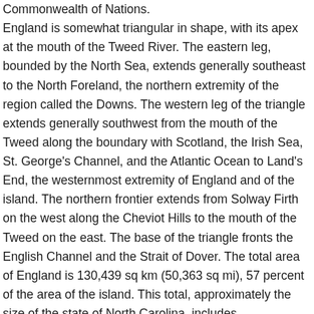Commonwealth of Nations. England is somewhat triangular in shape, with its apex at the mouth of the Tweed River. The eastern leg, bounded by the North Sea, extends generally southeast to the North Foreland, the northern extremity of the region called the Downs. The western leg of the triangle extends generally southwest from the mouth of the Tweed along the boundary with Scotland, the Irish Sea, St. George's Channel, and the Atlantic Ocean to Land's End, the westernmost extremity of England and of the island. The northern frontier extends from Solway Firth on the west along the Cheviot Hills to the mouth of the Tweed on the east. The base of the triangle fronts the English Channel and the Strait of Dover. The total area of England is 130,439 sq km (50,363 sq mi), 57 percent of the area of the island. This total, approximately the size of the state of North Carolina, includes